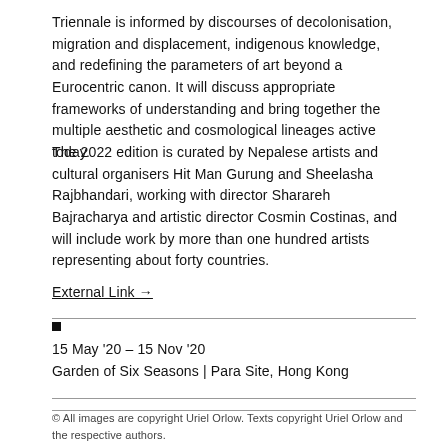Triennale is informed by discourses of decolonisation, migration and displacement, indigenous knowledge, and redefining the parameters of art beyond a Eurocentric canon. It will discuss appropriate frameworks of understanding and bring together the multiple aesthetic and cosmological lineages active today.
The 2022 edition is curated by Nepalese artists and cultural organisers Hit Man Gurung and Sheelasha Rajbhandari, working with director Sharareh Bajracharya and artistic director Cosmin Costinas, and will include work by more than one hundred artists representing about forty countries.
External Link →
■
15 May '20 – 15 Nov '20
Garden of Six Seasons | Para Site, Hong Kong
© All images are copyright Uriel Orlow. Texts copyright Uriel Orlow and the respective authors.